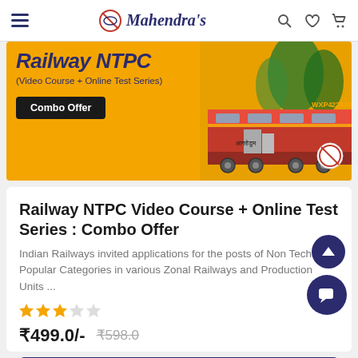Mahendra's
[Figure (screenshot): Banner image for Railway NTPC course showing a train and yellow background with text '(Video Course + Online Test Series)' and a 'Combo Offer' button]
Railway NTPC Video Course + Online Test Series : Combo Offer
Indian Railways invited applications for the posts of Non Technical Popular Categories in various Zonal Railways and Production Units ...
★★★☆☆
₹499.0/-  ₹598.0
Buy Now